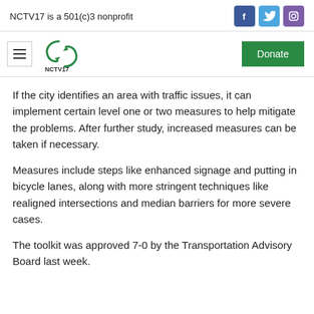NCTV17 is a 501(c)3 nonprofit
[Figure (logo): NCTV17 logo with hamburger menu icon and Donate button]
If the city identifies an area with traffic issues, it can implement certain level one or two measures to help mitigate the problems. After further study, increased measures can be taken if necessary.
Measures include steps like enhanced signage and putting in bicycle lanes, along with more stringent techniques like realigned intersections and median barriers for more severe cases.
The toolkit was approved 7-0 by the Transportation Advisory Board last week.